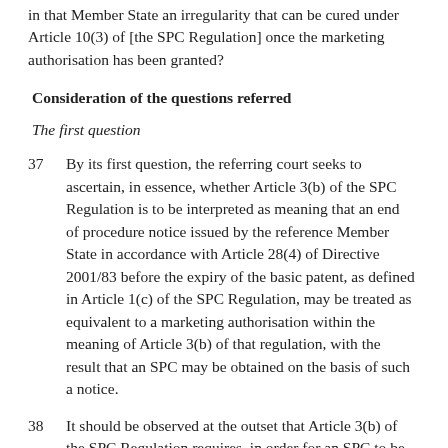in that Member State an irregularity that can be cured under Article 10(3) of [the SPC Regulation] once the marketing authorisation has been granted?
Consideration of the questions referred
The first question
37 By its first question, the referring court seeks to ascertain, in essence, whether Article 3(b) of the SPC Regulation is to be interpreted as meaning that an end of procedure notice issued by the reference Member State in accordance with Article 28(4) of Directive 2001/83 before the expiry of the basic patent, as defined in Article 1(c) of the SPC Regulation, may be treated as equivalent to a marketing authorisation within the meaning of Article 3(b) of that regulation, with the result that an SPC may be obtained on the basis of such a notice.
38 It should be observed at the outset that Article 3(b) of the SPC Regulation requires, in order for an SPC to be granted for a product as a medicinal product, a valid marketing authorisation to